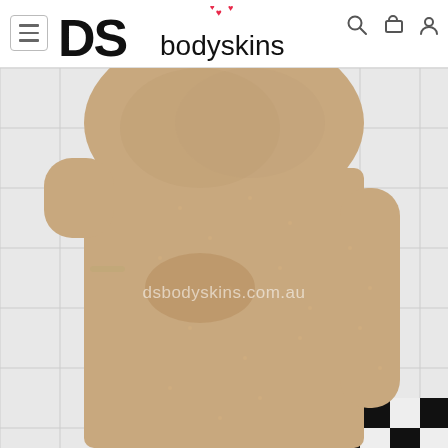DS bodyskins
[Figure (photo): Product photo of a flesh-toned full-body skin suit garment worn on a mannequin or model, shown from chest to upper thigh area, in a bathroom/tiled background setting. Watermark text reads dsbodyskins.com.au]